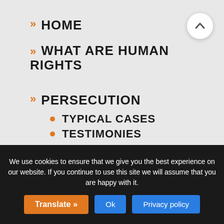HOME
WHAT ARE HUMAN RIGHTS
PERSECUTION
TYPICAL CASES
TESTIMONIES
NEWS AND VIDEOS
NEWS
VIDEOS
We use cookies to ensure that we give you the best experience on our website. If you continue to use this site we will assume that you are happy with it.
Translate »
Ok
Privacy policy